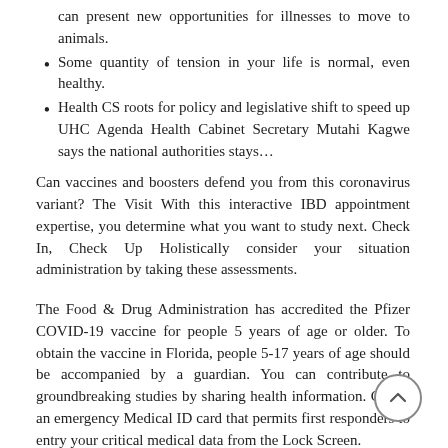can present new opportunities for illnesses to move to animals.
Some quantity of tension in your life is normal, even healthy.
Health CS roots for policy and legislative shift to speed up UHC Agenda Health Cabinet Secretary Mutahi Kagwe says the national authorities stays…
Can vaccines and boosters defend you from this coronavirus variant? The Visit With this interactive IBD appointment expertise, you determine what you want to study next. Check In, Check Up Holistically consider your situation administration by taking these assessments.
The Food & Drug Administration has accredited the Pfizer COVID-19 vaccine for people 5 years of age or older. To obtain the vaccine in Florida, people 5-17 years of age should be accompanied by a guardian. You can contribute to groundbreaking studies by sharing health information. Create an emergency Medical ID card that permits first responders to entry your critical medical data from the Lock Screen.